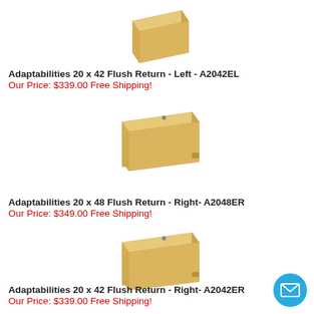[Figure (photo): Top portion of a maple wood flush return desk, partially cropped at top of page]
Adaptabilities 20 x 42 Flush Return - Left - A2042EL
Our Price: $339.00 Free Shipping!
[Figure (photo): Maple wood flush return desk with panel legs, 20 x 48, right orientation]
Adaptabilities 20 x 48 Flush Return - Right- A2048ER
Our Price: $349.00 Free Shipping!
[Figure (photo): Maple wood flush return desk with panel legs, 20 x 42, right orientation]
Adaptabilities 20 x 42 Flush Return - Right- A2042ER
Our Price: $339.00 Free Shipping!